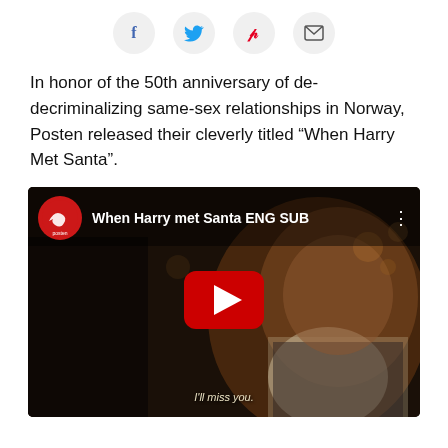[Figure (infographic): Social sharing icon bar with Facebook (f), Twitter (bird), Pinterest (P), and email (envelope) icons in light grey circles]
In honor of the 50th anniversary of de-decriminalizing same-sex relationships in Norway, Posten released their cleverly titled “When Harry Met Santa”.
[Figure (screenshot): YouTube video thumbnail for 'When Harry met Santa ENG SUB' by Posten. Shows a man smiling in a dark scene. Red play button in center. Subtitle text: I'll miss you.]